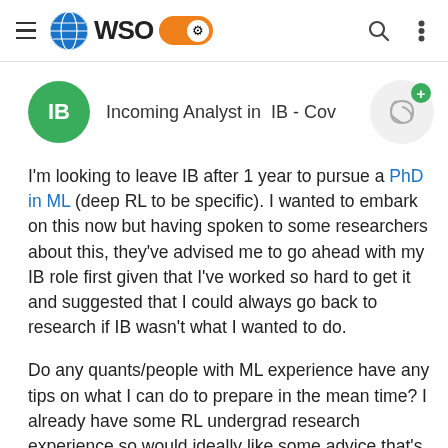WSO navigation bar with hamburger menu, globe logo, WSO text, orange toggle, search icon, and more icon
Incoming Analyst in  IB - Cov
I'm looking to leave IB after 1 year to pursue a PhD in ML (deep RL to be specific). I wanted to embark on this now but having spoken to some researchers about this, they've advised me to go ahead with my IB role first given that I've worked so hard to get it and suggested that I could always go back to research if IB wasn't what I wanted to do.
Do any quants/people with ML experience have any tips on what I can do to prepare in the mean time? I already have some RL undergrad research experience so would ideally like some advice that's